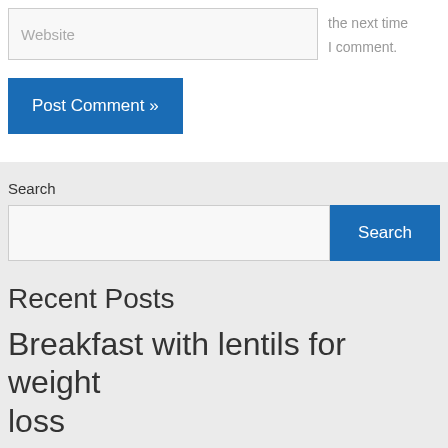[Figure (screenshot): Website input field with placeholder text 'Website' and comment text 'the next time I comment.' to the right]
[Figure (screenshot): Blue 'Post Comment »' button]
Search
[Figure (screenshot): Search input field with blue Search button]
Recent Posts
Breakfast with lentils for weight loss